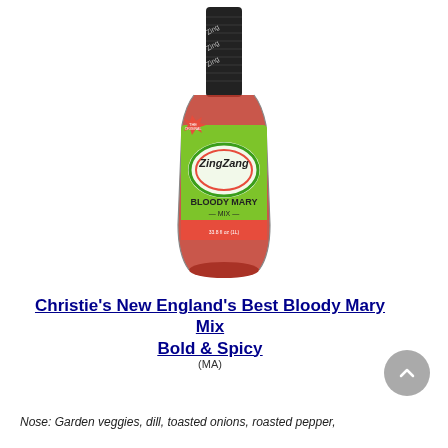[Figure (photo): A bottle of Zing Zang Bloody Mary Mix with a green label, black foil neck wrap, and reddish-brown liquid visible through the glass.]
Christie's New England's Best Bloody Mary Mix
Bold & Spicy
(MA)
Nose: Garden veggies, dill, toasted onions, roasted pepper,